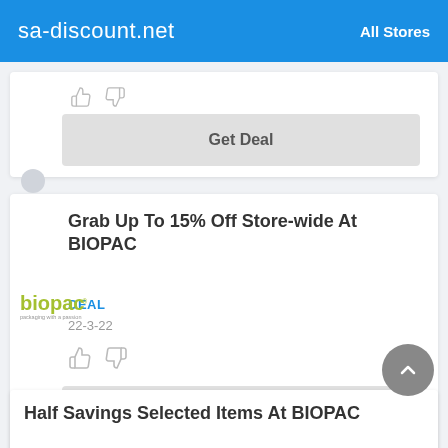sa-discount.net   All Stores
[Figure (screenshot): Thumbs up and thumbs down icons for rating a deal (partial card, top of page)]
Get Deal
Grab Up To 15% Off Store-wide At BIOPAC
DEAL
22-3-22
[Figure (logo): biopac logo in olive/yellow-green with tagline 'packaging with a passion']
Get Deal
Half Savings Selected Items At BIOPAC